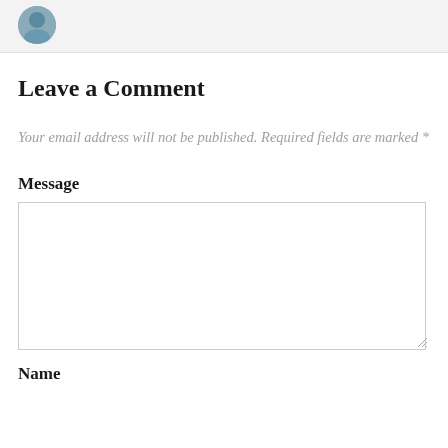[Figure (photo): Partial view of a circular avatar/profile photo in top left corner of a light gray strip]
Leave a Comment
Your email address will not be published. Required fields are marked *
Message
[Message text area input box]
Name